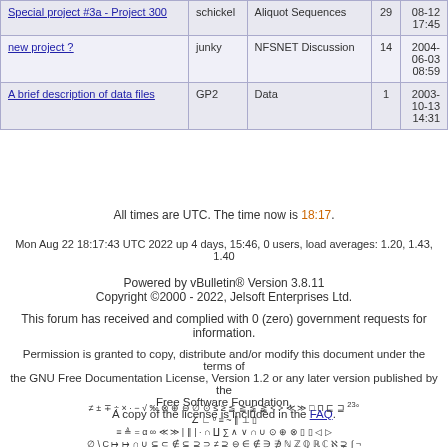| Topic | Author | Forum | Replies | Last Post |
| --- | --- | --- | --- | --- |
| Special project #3a - Project 300 | schickel | Aliquot Sequences | 29 | 08-12 17:45 |
| new project ? | junky | NFSNET Discussion | 14 | 2004-06-03 08:59 |
| A brief description of data files | GP2 | Data | 1 | 2003-10-13 14:31 |
All times are UTC. The time now is 18:17.
Mon Aug 22 18:17:43 UTC 2022 up 4 days, 15:46, 0 users, load averages: 1.20, 1.43, 1.40
Powered by vBulletin® Version 3.8.11 Copyright ©2000 - 2022, Jelsoft Enterprises Ltd.
This forum has received and complied with 0 (zero) government requests for information.
Permission is granted to copy, distribute and/or modify this document under the terms of the GNU Free Documentation License, Version 1.2 or any later version published by the Free Software Foundation. A copy of the license is included in the FAQ.
≠ ± ∓ ÷ × · − √ ‰ ⊗ ⊕ ⊖ ∅ ⊙ ≤ ≥ ≦ ≧ ≨ ≩ < > ≪ ≫ □ ∋ ⊑ ⊒ ² ³ ° ∠ ∟ º ≡ ~ ‖ ⊥ ▯ ≡ ≜ = α ∞ ≪ ≫ | ‖ | · ∩ ∐ ∑ ∧ ∨ ∩ ∪ ⊙ ⊕ ⊗ ▯ ▯ ◁ ▷ ∅ \ C ↦ ↦ ∩ ∪ ⊆ ⊂ ∉ ⊆ ⊇ ⊃ ≠ ⊇ ⊖ ∈ ∉ ∋ ∌ ℕ ℤ ℚ ℝ ℂ ℵ ∋ ∫ ¬ ∨ ∧ ⊕ → ← ⇒ ⇐ ⇔ ∀ ∃ ∄ ∵ ∴ ⊤ ⊥ ⊢ ⊨ □ ⊣ … ⋯ ⋮ ⋰ ⋱ ∫ ∬ ∭ ∮ ∯ ∰ ∇ Δ δ ℱ ℒ ℓ